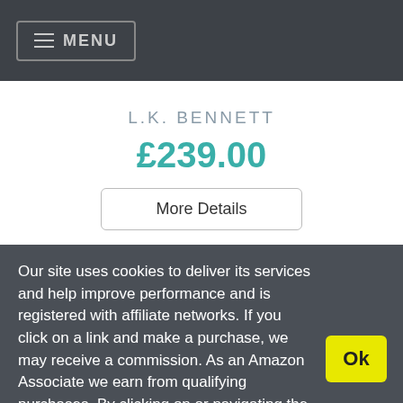≡ MENU
L.K. BENNETT
£239.00
More Details
Our site uses cookies to deliver its services and help improve performance and is registered with affiliate networks. If you click on a link and make a purchase, we may receive a commission. As an Amazon Associate we earn from qualifying purchases. By clicking on or navigating the site, you agree to our use of cookies. View our Cookie Policy and Affiliate Disclosure